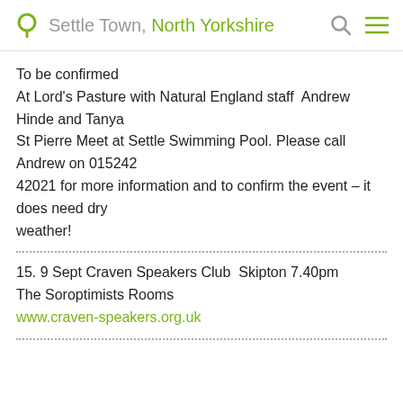Settle Town, North Yorkshire
To be confirmed
At Lord's Pasture with Natural England staff  Andrew Hinde and Tanya
St Pierre Meet at Settle Swimming Pool. Please call Andrew on 015242
42021 for more information and to confirm the event – it does need dry
weather!
15. 9 Sept Craven Speakers Club  Skipton 7.40pm
The Soroptimists Rooms
www.craven-speakers.org.uk